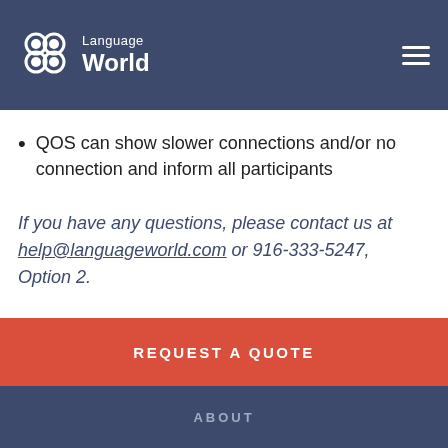Language World
QOS can show slower connections and/or no connection and inform all participants
If you have any questions, please contact us at help@languageworld.com or 916-333-5247, Option 2.
REQUEST A QUOTE
ABOUT